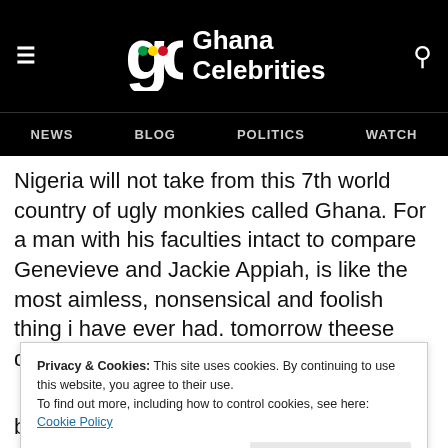Ghana Celebrities — NEWS  BLOG  POLITICS  WATCH
Nigeria will not take from this 7th world country of ugly monkies called Ghana. For a man with his faculties intact to compare Genevieve and Jackie Appiah, is like the most aimless, nonsensical and foolish thing i have ever had. tomorrow theese delusional fools will start comparing RAMSEY NOAH with Van vicker, God help
Privacy & Cookies: This site uses cookies. By continuing to use this website, you agree to their use.
To find out more, including how to control cookies, see here: Cookie Policy
body and of course best over Africa has